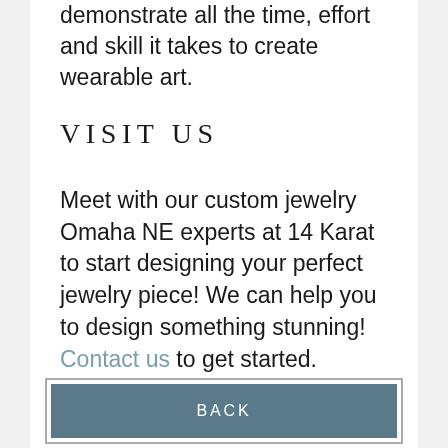demonstrate all the time, effort and skill it takes to create wearable art.
VISIT US
Meet with our custom jewelry Omaha NE experts at 14 Karat to start designing your perfect jewelry piece! We can help you to design something stunning! Contact us to get started.
BACK